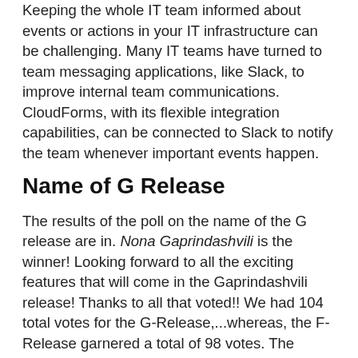Keeping the whole IT team informed about events or actions in your IT infrastructure can be challenging. Many IT teams have turned to team messaging applications, like Slack, to improve internal team communications. CloudForms, with its flexible integration capabilities, can be connected to Slack to notify the team whenever important events happen.
Name of G Release
The results of the poll on the name of the G release are in. Nona Gaprindashvili is the winner! Looking forward to all the exciting features that will come in the Gaprindashvili release! Thanks to all that voted!! We had 104 total votes for the G-Release,...whereas, the F-Release garnered a total of 98 votes. The ManageIQ Community continues to grow!
Announcing Euwe-3